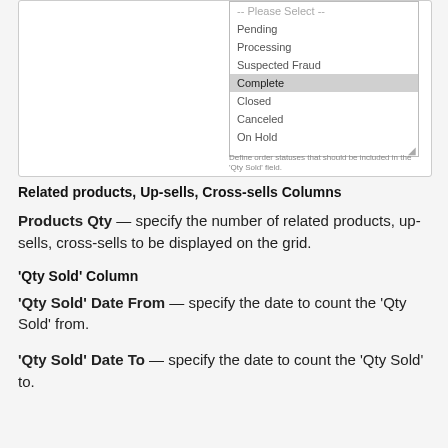[Figure (screenshot): Screenshot of a settings UI showing 'Qty Sold Order Statuses [global]' with a multi-select listbox. Options: -- Please Select --, Pending, Processing, Suspected Fraud, Complete (highlighted/selected), Closed, Canceled, On Hold. Below is help text: 'Define order statuses that should be included in the Qty Sold field.']
Related products, Up-sells, Cross-sells Columns
'Products Qty' — specify the number of related products, up-sells, cross-sells to be displayed on the grid.
'Qty Sold' Column
'Qty Sold' Date From — specify the date to count the 'Qty Sold' from.
'Qty Sold' Date To — specify the date to count the 'Qty Sold' to.